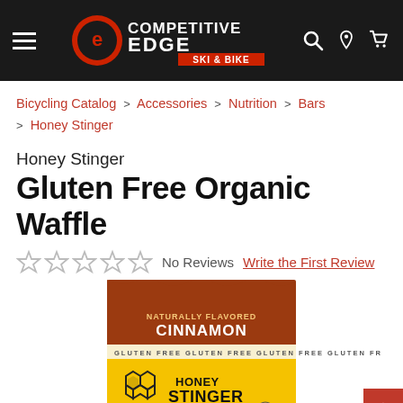Competitive Edge Ski & Bike — navigation header
Bicycling Catalog > Accessories > Nutrition > Bars > Honey Stinger
Honey Stinger
Gluten Free Organic Waffle
No Reviews  Write the First Review
[Figure (photo): Honey Stinger Gluten Free Organic Waffle product packaging — Cinnamon flavor, yellow and brown package with honeycomb logo]